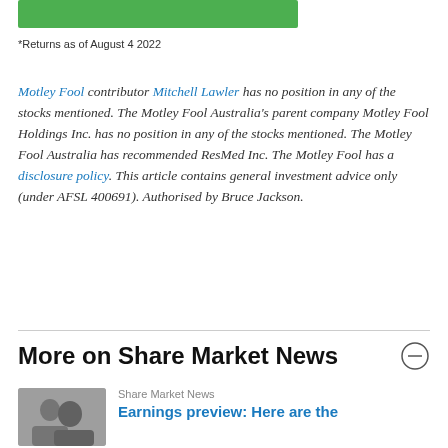[Figure (other): Green banner/bar at top of page]
*Returns as of August 4 2022
Motley Fool contributor Mitchell Lawler has no position in any of the stocks mentioned. The Motley Fool Australia's parent company Motley Fool Holdings Inc. has no position in any of the stocks mentioned. The Motley Fool Australia has recommended ResMed Inc. The Motley Fool has a disclosure policy. This article contains general investment advice only (under AFSL 400691). Authorised by Bruce Jackson.
More on Share Market News
Share Market News
Earnings preview: Here are the